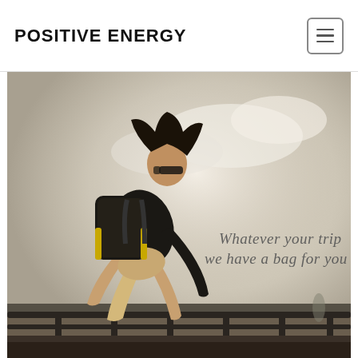POSITIVE ENERGY
[Figure (photo): Athletic man with long dark hair and sunglasses, wearing a dark sleeveless top and carrying a large black backpack with yellow accents, performing a parkour move on a railing against a hazy sky background. Text overlay reads: 'Whatever your trip we have a bag for you']